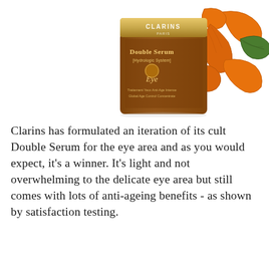[Figure (photo): Clarins Double Serum Eye product bottle with golden/brown packaging, accompanied by orange turmeric root with green leaf on white background]
Clarins has formulated an iteration of its cult Double Serum for the eye area and as you would expect, it's a winner. It's light and not overwhelming to the delicate eye area but still comes with lots of anti-ageing benefits - as shown by satisfaction testing.